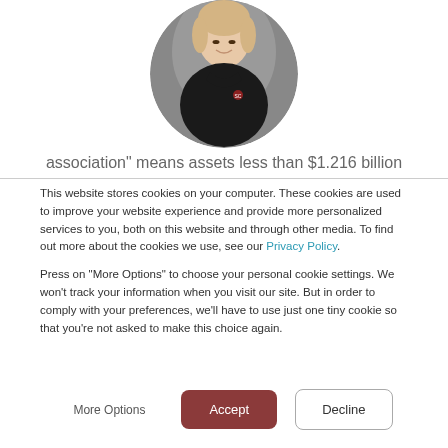[Figure (photo): Circular headshot photo of a woman with blonde hair wearing a black polo shirt, smiling, against a grey background.]
association" means assets less than $1.216 billion
This website stores cookies on your computer. These cookies are used to improve your website experience and provide more personalized services to you, both on this website and through other media. To find out more about the cookies we use, see our Privacy Policy.
Press on "More Options" to choose your personal cookie settings. We won't track your information when you visit our site. But in order to comply with your preferences, we'll have to use just one tiny cookie so that you're not asked to make this choice again.